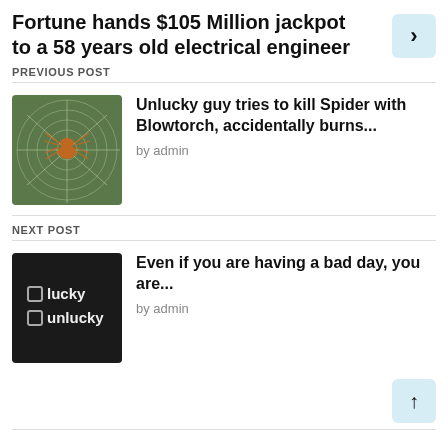Fortune hands $105 Million jackpot to a 58 years old electrical engineer
PREVIOUS POST
[Figure (photo): Spider on a web, green blurred background]
Unlucky guy tries to kill Spider with Blowtorch, accidentally burns...
by admin
NEXT POST
[Figure (photo): Chalkboard with checkboxes labeled 'lucky' and 'unlucky']
Even if you are having a bad day, you are...
by admin